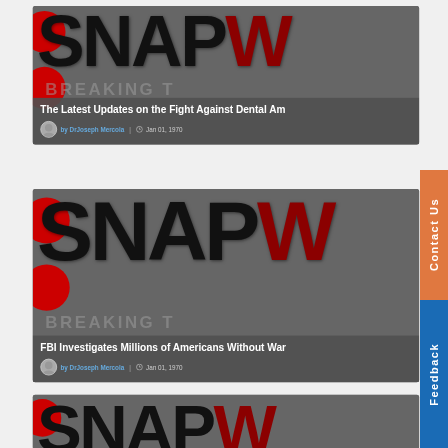[Figure (screenshot): SNAPW news website card 1: header image with SNAP logo in black and red W, red circles, overlay with title 'The Latest Updates on the Fight Against Dental Am', author 'DrJoseph Mercola', date 'Jan 01, 1970']
[Figure (screenshot): SNAPW news website card 2: header image with SNAP logo in black and red W, red circles, overlay with title 'FBI Investigates Millions of Americans Without War', author 'DrJoseph Mercola', date 'Jan 01, 1970']
[Figure (screenshot): SNAPW news website card 3: partial view of third article card at bottom]
Contact Us
Feedback